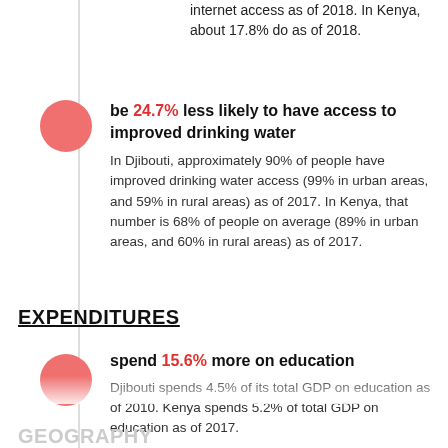internet access as of 2018. In Kenya, about 17.8% do as of 2018.
be 24.7% less likely to have access to improved drinking water
In Djibouti, approximately 90% of people have improved drinking water access (99% in urban areas, and 59% in rural areas) as of 2017. In Kenya, that number is 68% of people on average (89% in urban areas, and 60% in rural areas) as of 2017.
EXPENDITURES
spend 15.6% more on education
Djibouti spends 4.5% of its total GDP on education as of 2010. Kenya spends 5.2% of total GDP on education as of 2017.